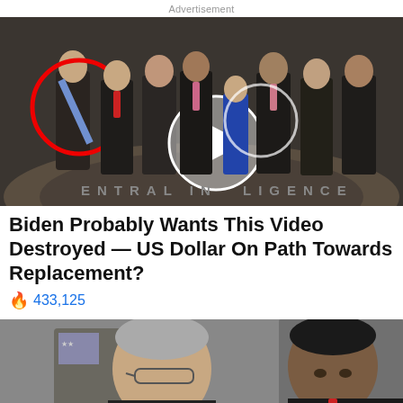Advertisement
[Figure (photo): Group of men in suits standing in the CIA headquarters lobby with the CIA seal on the floor. One man is circled in red on the left. A video play button circle is overlaid in the center of the image.]
Biden Probably Wants This Video Destroyed — US Dollar On Path Towards Replacement?
🔥 433,125
[Figure (photo): Two men visible, one with gray hair and glasses on the left, one on the right who appears to be Barack Obama, both in suits.]